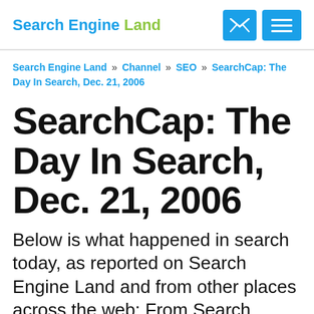Search Engine Land
Search Engine Land » Channel » SEO » SearchCap: The Day In Search, Dec. 21, 2006
SearchCap: The Day In Search, Dec. 21, 2006
Below is what happened in search today, as reported on Search Engine Land and from other places across the web: From Search Engine Land: Wish List: Interactive Help From Google's Matt Cutts &